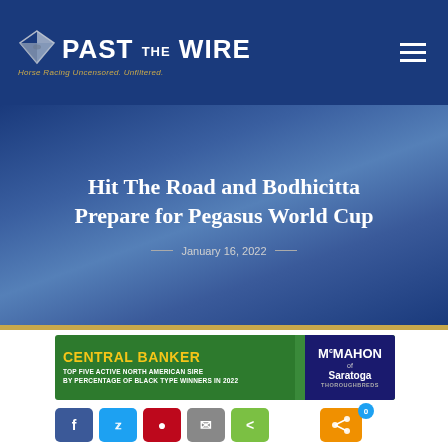PAST THE WIRE — Horse Racing Uncensored. Unfiltered.
Hit The Road and Bodhicitta Prepare for Pegasus World Cup
January 16, 2022
[Figure (logo): Central Banker advertisement banner — TOP FIVE ACTIVE NORTH AMERICAN SIRE BY PERCENTAGE OF BLACK TYPE WINNERS IN 2022 — McMahon of Saratoga Thoroughbreds]
Social share buttons: Facebook, Twitter, Pinterest, Email, Share